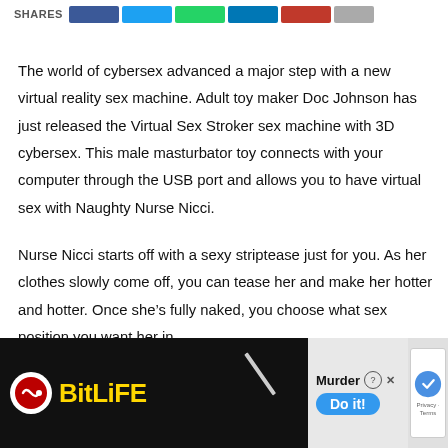SHARES
The world of cybersex advanced a major step with a new virtual reality sex machine. Adult toy maker Doc Johnson has just released the Virtual Sex Stroker sex machine with 3D cybersex. This male masturbator toy connects with your computer through the USB port and allows you to have virtual sex with Naughty Nurse Nicci.
Nurse Nicci starts off with a sexy striptease just for you. As her clothes slowly come off, you can tease her and make her hotter and hotter. Once she’s fully naked, you choose what sex position you want her in.
The software for this virtual reality sex machine allows you to control
[Figure (screenshot): BitLife advertisement banner at the bottom of the page showing the BitLife logo with red circle, yellow BITLIFE text, Murder option, Do it! button in blue, and reCAPTCHA widget on right side]